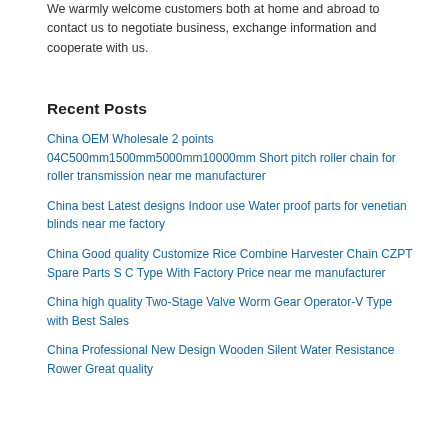We warmly welcome customers both at home and abroad to contact us to negotiate business, exchange information and cooperate with us.
Recent Posts
China OEM Wholesale 2 points 04C500mm1500mm5000mm10000mm Short pitch roller chain for roller transmission near me manufacturer
China best Latest designs Indoor use Water proof parts for venetian blinds near me factory
China Good quality Customize Rice Combine Harvester Chain CZPT Spare Parts S C Type With Factory Price near me manufacturer
China high quality Two-Stage Valve Worm Gear Operator-V Type with Best Sales
China Professional New Design Wooden Silent Water Resistance Rower Great quality